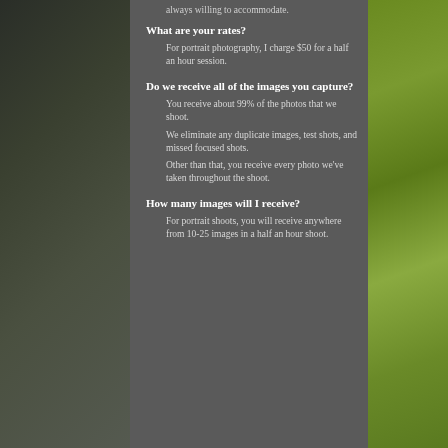always willing to accommodate.
What are your rates?
For portrait photography, I charge $50 for a half an hour session.
Do we receive all of the images you capture?
You receive about 99% of the photos that we shoot.
We eliminate any duplicate images, test shots, and missed focused shots.
Other than that, you receive every photo we've taken throughout the shoot.
How many images will I receive?
For portrait shoots, you will receive anywhere from 10-25 images in a half an hour shoot.
[Figure (photo): Left strip: dark blurred photo of bird or nature scene]
[Figure (photo): Right strip: close-up photo of green moss]